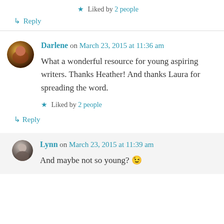★ Liked by 2 people
↳ Reply
Darlene on March 23, 2015 at 11:36 am
What a wonderful resource for young aspiring writers. Thanks Heather! And thanks Laura for spreading the word.
★ Liked by 2 people
↳ Reply
Lynn on March 23, 2015 at 11:39 am
And maybe not so young? 😉